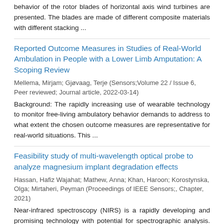behavior of the rotor blades of horizontal axis wind turbines are presented. The blades are made of different composite materials with different stacking ...
Reported Outcome Measures in Studies of Real-World Ambulation in People with a Lower Limb Amputation: A Scoping Review
Mellema, Mirjam; Gjøvaag, Terje (Sensors;Volume 22 / Issue 6, Peer reviewed; Journal article, 2022-03-14)
Background: The rapidly increasing use of wearable technology to monitor free-living ambulatory behavior demands to address to what extent the chosen outcome measures are representative for real-world situations. This ...
Feasibility study of multi-wavelength optical probe to analyze magnesium implant degradation effects
Hassan, Hafiz Wajahat; Mathew, Anna; Khan, Haroon; Korostynska, Olga; Mirtaheri, Peyman (Proceedings of IEEE Sensors;, Chapter, 2021)
Near-infrared spectroscopy (NIRS) is a rapidly developing and promising technology with potential for spectrographic analysis. Understanding NIRS measurements on the implant-tissue interface for hydrogen gas formation as ...